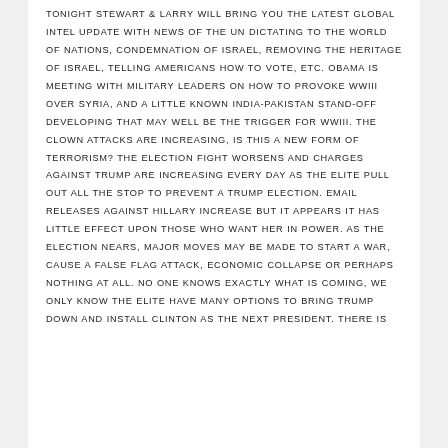TONIGHT STEWART & LARRY WILL BRING YOU THE LATEST GLOBAL INTEL UPDATE WITH NEWS OF THE UN DICTATING TO THE WORLD OF NATIONS, CONDEMNATION OF ISRAEL, REMOVING THE HERITAGE OF ISRAEL, TELLING AMERICANS HOW TO VOTE, ETC. OBAMA IS MEETING WITH MILITARY LEADERS ON HOW TO PROVOKE WWIII OVER SYRIA, AND A LITTLE KNOWN INDIA-PAKISTAN STAND-OFF DEVELOPING THAT MAY WELL BE THE TRIGGER FOR WWIII. THE CLOWN ATTACKS ARE INCREASING, IS THIS A NEW FORM OF TERRORISM? THE ELECTION FIGHT WORSENS AND CHARGES AGAINST TRUMP ARE INCREASING EVERY DAY AS THE ELITE PULL OUT ALL THE STOP TO PREVENT A TRUMP ELECTION. EMAIL RELEASES AGAINST HILLARY INCREASE BUT IT APPEARS IT HAS LITTLE EFFECT UPON THOSE WHO WANT HER IN POWER. AS THE ELECTION NEARS, MAJOR MOVES MAY BE MADE TO START A WAR, CAUSE A FALSE FLAG ATTACK, ECONOMIC COLLAPSE OR PERHAPS NOTHING AT ALL. NO ONE KNOWS EXACTLY WHAT IS COMING, WE ONLY KNOW THE ELITE HAVE MANY OPTIONS TO BRING TRUMP DOWN AND INSTALL CLINTON AS THE NEXT PRESIDENT. THERE IS